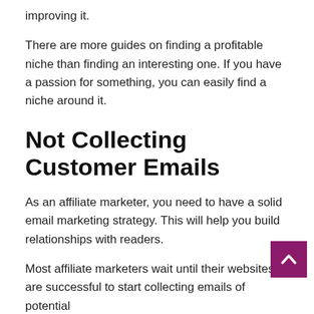improving it.
There are more guides on finding a profitable niche than finding an interesting one. If you have a passion for something, you can easily find a niche around it.
Not Collecting Customer Emails
As an affiliate marketer, you need to have a solid email marketing strategy. This will help you build relationships with readers.
Most affiliate marketers wait until their websites are successful to start collecting emails of potential